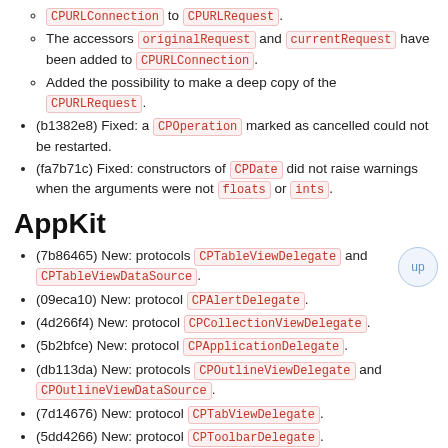CPURLConnection to CPURLRequest.
The accessors originalRequest and currentRequest have been added to CPURLConnection.
Added the possibility to make a deep copy of the CPURLRequest.
(b1382e8) Fixed: a CPOperation marked as cancelled could not be restarted.
(fa7b71c) Fixed: constructors of CPDate did not raise warnings when the arguments were not floats or ints.
AppKit
(7b86465) New: protocols CPTableViewDelegate and CPTableViewDataSource.
(09eca10) New: protocol CPAlertDelegate.
(4d266f4) New: protocol CPCollectionViewDelegate.
(5b2bfce) New: protocol CPApplicationDelegate.
(db113da) New: protocols CPOutlineViewDelegate and CPOutlineViewDataSource.
(7d14676) New: protocol CPTabViewDelegate.
(5dd4266) New: protocol CPToolbarDelegate.